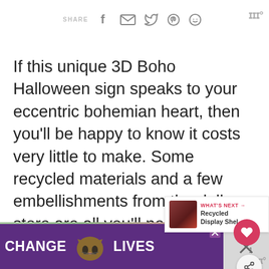SHARE [social icons: Facebook, Email, Twitter, Pinterest, WhatsApp]
If this unique 3D Boho Halloween sign speaks to your eccentric bohemian heart, then you'll be happy to know it costs very little to make. Some recycled materials and a few embellishments from the dollar store are all you'll need to make this easy scrap wood sign.
[Figure (screenshot): Bottom portion showing a green decorated Halloween sign with cursive lettering, overlaid by a purple ad banner reading CHANGE [cat image] LIVES with close buttons]
WHAT'S NEXT → Recycled Display Shel...